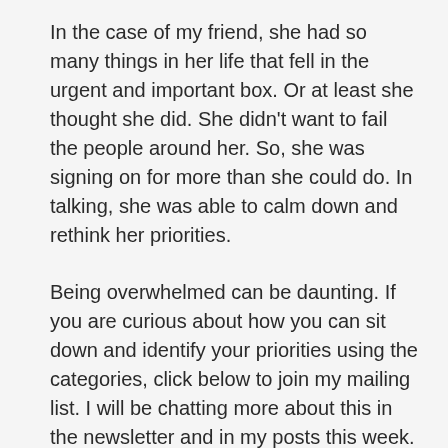In the case of my friend, she had so many things in her life that fell in the urgent and important box. Or at least she thought she did. She didn't want to fail the people around her. So, she was signing on for more than she could do. In talking, she was able to calm down and rethink her priorities.
Being overwhelmed can be daunting. If you are curious about how you can sit down and identify your priorities using the categories, click below to join my mailing list. I will be chatting more about this in the newsletter and in my posts this week.
Design • Planning • Simplifying